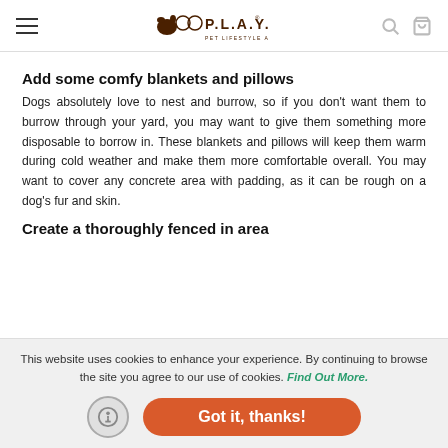P.L.A.Y. Pet Lifestyle And You — navigation header with logo, search, and cart icons
Add some comfy blankets and pillows
Dogs absolutely love to nest and burrow, so if you don't want them to burrow through your yard, you may want to give them something more disposable to borrow in. These blankets and pillows will keep them warm during cold weather and make them more comfortable overall. You may want to cover any concrete area with padding, as it can be rough on a dog's fur and skin.
Create a thoroughly fenced in area
This website uses cookies to enhance your experience. By continuing to browse the site you agree to our use of cookies. Find Out More.
Got it, thanks!